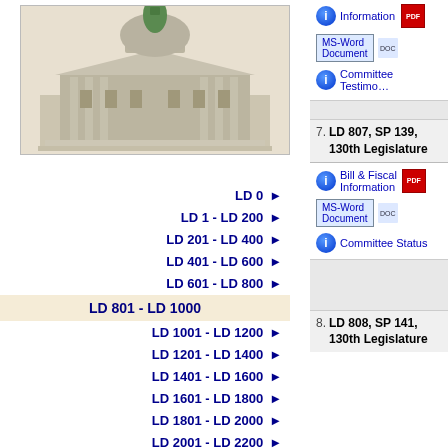[Figure (illustration): Maine State Capitol building illustration, grayscale/tan tones with green dome]
LD 0
LD 1 - LD 200
LD 201 - LD 400
LD 401 - LD 600
LD 601 - LD 800
LD 801 - LD 1000 (active/selected)
LD 1001 - LD 1200
LD 1201 - LD 1400
LD 1401 - LD 1600
LD 1601 - LD 1800
LD 1801 - LD 2000
LD 2001 - LD 2200
LD 2201 - LD 2400
LD 2401 - LD 2600
Information
MS-Word Document
Committee Testimony
7. LD 807, SP 139, 130th Legislature
Bill & Fiscal Information
MS-Word Document
Committee Status
8. LD 808, SP 141, 130th Legislature